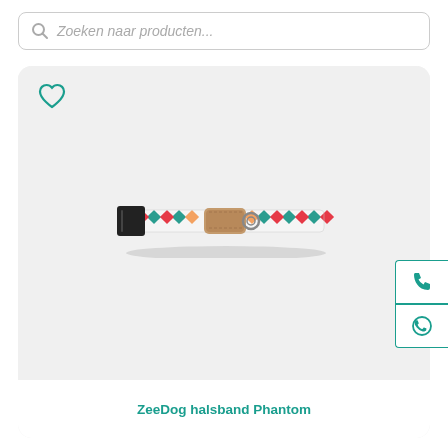Zoeken naar producten...
[Figure (photo): Product card showing a ZeeDog halsband Phantom dog collar with colorful checkered pattern in red, teal, yellow, and white with a brown leather accent and black buckle, displayed on a light gray background.]
ZeeDog halsband Phantom